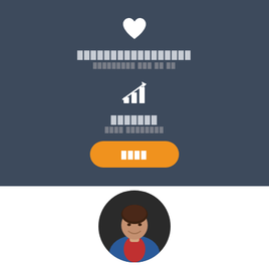[Figure (illustration): White heart icon on dark blue-grey background]
█████████████████
█████████ ███ ██ ██
[Figure (illustration): Bar chart with upward arrow icon (growth/analytics icon) on dark blue-grey background]
███████
████ ████████
[Figure (illustration): Orange rounded rectangle call-to-action button with text]
████
[Figure (photo): Circular cropped photo of a young man smiling, wearing a blue jacket and red shirt]